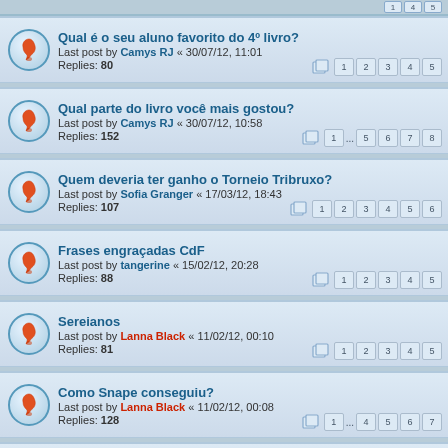Qual é o seu aluno favorito do 4º livro? — Last post by Camys RJ « 30/07/12, 11:01 — Replies: 80 — Pages: 1 2 3 4 5
Qual parte do livro você mais gostou? — Last post by Camys RJ « 30/07/12, 10:58 — Replies: 152 — Pages: 1 ... 5 6 7 8
Quem deveria ter ganho o Torneio Tribruxo? — Last post by Sofia Granger « 17/03/12, 18:43 — Replies: 107 — Pages: 1 2 3 4 5 6
Frases engraçadas CdF — Last post by tangerine « 15/02/12, 20:28 — Replies: 88 — Pages: 1 2 3 4 5
Sereianos — Last post by Lanna Black « 11/02/12, 00:10 — Replies: 81 — Pages: 1 2 3 4 5
Como Snape conseguiu? — Last post by Lanna Black « 11/02/12, 00:08 — Replies: 128 — Pages: 1 ... 4 5 6 7
Ele tinha ou não um corpo? — Last post by Lanna Black « 10/02/12, 23:56 — Replies: 4
Harry X Cedrico — Last post by Anne Goldstein « 10/07/11, 16:02